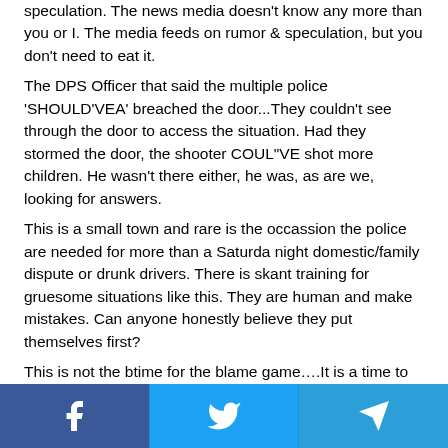speculation. The news media doesn't know any more than you or I. The media feeds on rumor & speculation, but you don't need to eat it.
The DPS Officer that said the multiple police 'SHOULD'VEA' breached the door...They couldn't see through the door to access the situation. Had they stormed the door, the shooter COUL"VE shot more children. He wasn't there either, he was, as are we, looking for answers.
This is a small town and rare is the occassion the police are needed for more than a Saturda night domestic/family dispute or drunk drivers. There is skant training for gruesome situations like this. They are human and make mistakes. Can anyone honestly believe they put themselves first?
This is not the btime for the blame game….It is a time to grieve, cry and pray for all effected and that someting can be learned that will make schools across our Nation safer. This shooter has also made victims of the law
Social share buttons: Facebook, Twitter, Telegram